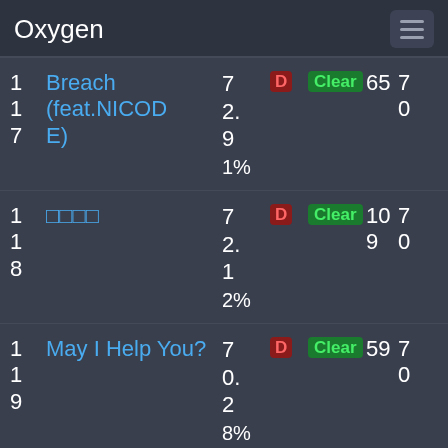Oxygen
| Rank | Title | Score | Difficulty | Clear | Combo | Points |
| --- | --- | --- | --- | --- | --- | --- |
| 1
1
7 | Breach (feat.NICODE) | 7
2.9
1% | D | Clear | 65 | 7
0 |
| 1
1
8 | □□□□ | 7
2.1
2% | D | Clear | 10
9 | 7
0 |
| 1
1
9 | May I Help You? | 7
0.2
8% | D | Clear | 59 | 7
0 |
| 1 | Hyadain no Kakakata | 6 | D | Clear | 11 | 7 |